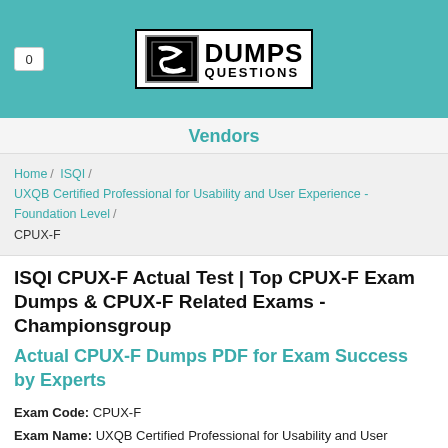[Figure (logo): Dumps Questions logo with teal header background and cart counter showing 0]
Vendors
Home / ISQI / UXQB Certified Professional for Usability and User Experience - Foundation Level / CPUX-F
ISQI CPUX-F Actual Test | Top CPUX-F Exam Dumps & CPUX-F Related Exams - Championsgroup
Actual CPUX-F Dumps PDF for Exam Success by Experts
Exam Code: CPUX-F
Exam Name: UXQB Certified Professional for Usability and User Experience - Foundation Level
Certification Provider: ISQI
Related Certification: